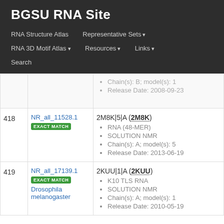BGSU RNA Site
RNA Structure Atlas | Representative Sets | RNA 3D Motif Atlas | Resources | Links | Search
| # | ID | Details |
| --- | --- | --- |
|  |  | Chain(s): B; model(s): 1
Release Date: 2008-09-23 |
| 418 | NR_all_11528.1
EXACT MATCH | 2M8K|5|A (2M8K)
RNA (48-MER)
SOLUTION NMR
Chain(s): A; model(s): 5
Release Date: 2013-06-19 |
| 419 | NR_all_17139.1
EXACT MATCH
Drosophila melanogaster | 2KUU|1|A (2KUU)
K10 TLS RNA
SOLUTION NMR
Chain(s): A; model(s): 1
Release Date: 2010-05-19 |